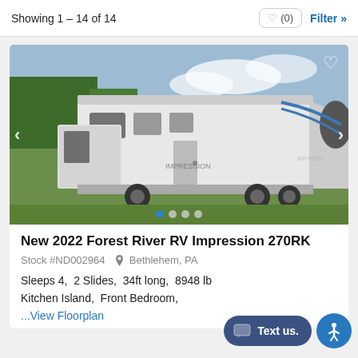Showing 1 - 14 of 14
[Figure (photo): White fifth-wheel RV (Forest River Impression 270RK) parked in a grassy field with trees in background]
New 2022 Forest River RV Impression 270RK
Stock #ND002964  Bethlehem, PA
Sleeps 4,  2 Slides,  34ft long,  8948 lb,  Kitchen Island,  Front Bedroom,
...View Floorplan